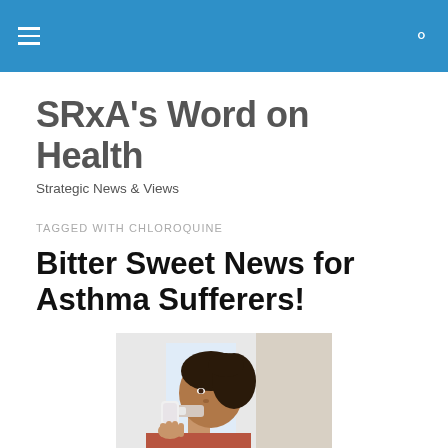SRxA's Word on Health — navigation header bar
SRxA's Word on Health
Strategic News & Views
TAGGED WITH CHLOROQUINE
Bitter Sweet News for Asthma Sufferers!
[Figure (photo): A woman using an asthma inhaler, shown in profile view, with dark curly hair pulled back, holding an inhaler to her mouth.]